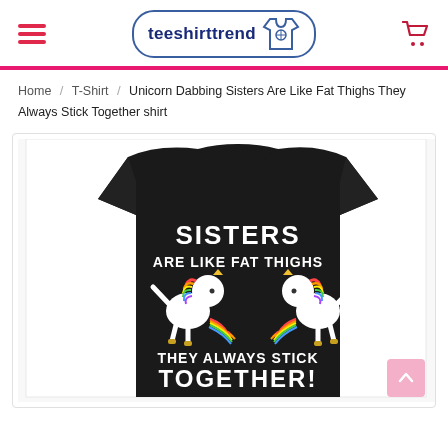[Figure (logo): teeshirttrend logo with t-shirt icon in rounded rectangle border]
Home / T-Shirt / Unicorn Dabbing Sisters Are Like Fat Thighs They Always Stick Together shirt
[Figure (photo): Black t-shirt with two dabbing unicorns and text: SISTERS ARE LIKE FAT THIGHS THEY ALWAYS STICK TOGETHER!]